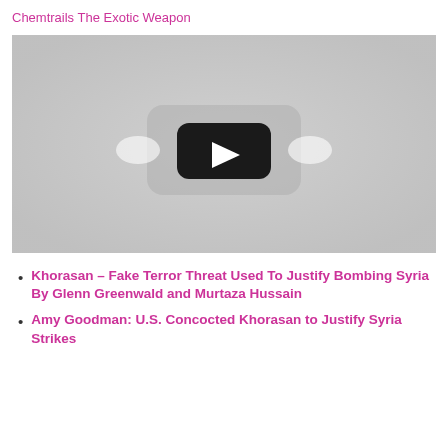Chemtrails The Exotic Weapon
[Figure (screenshot): YouTube video embed placeholder showing a play button on a grey background]
Khorasan – Fake Terror Threat Used To Justify Bombing Syria By Glenn Greenwald and Murtaza Hussain
Amy Goodman: U.S. Concocted Khorasan to Justify Syria Strikes